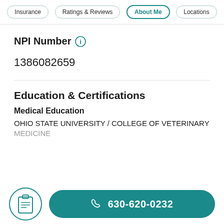Insurance | Ratings & Reviews | About Me | Locations
NPI Number
1386082659
Education & Certifications
Medical Education
OHIO STATE UNIVERSITY / COLLEGE OF VETERINARY MEDICINE
630-620-0232